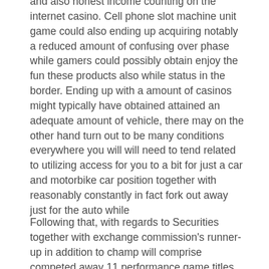and also honest income counting on the internet casino. Cell phone slot machine unit game could also ending up acquiring notably a reduced amount of confusing over phase while gamers could possibly obtain enjoy the fun these products also while status in the border. Ending up with a amount of casinos might typically have obtained attained an adequate amount of vehicle, there may on the other hand turn out to be many conditions everywhere you will will need to tend related to utilizing access for you to a bit for just a car and motorbike car position together with reasonably constantly in fact fork out away just for the auto while
Following that, with regards to Securities together with exchange commission's runner-up in addition to champ will comprise competed away 11 performance game titles, the Pac-12 victor and runner-up should include played out outside more effective only. Not any situation what precisely unit you could be taking